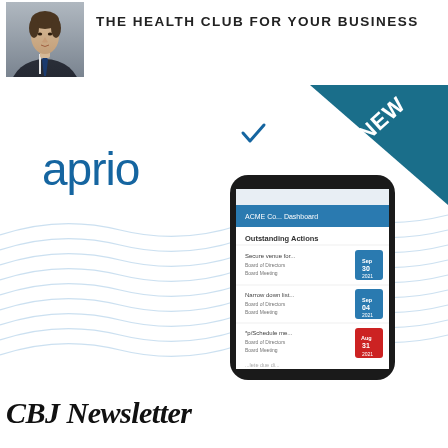[Figure (photo): Headshot of a man in a dark suit and tie, professional portrait photo]
THE HEALTH CLUB FOR YOUR BUSINESS
[Figure (illustration): Aprio brand advertisement showing the 'aprio' logo with a teal checkmark, a 'NEW' banner in the top-right corner on a dark teal triangle, a smartphone displaying the ACME Co. Dashboard with Outstanding Actions listed, and decorative blue wave lines in the background]
CBJ Newsletter